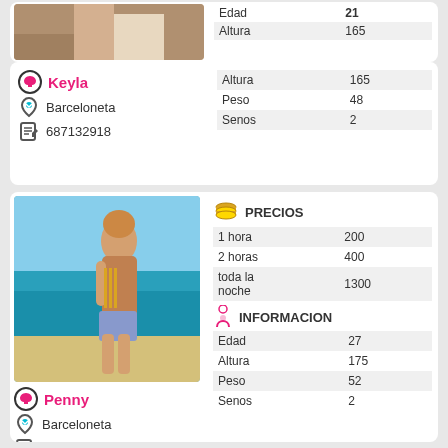[Figure (photo): Partial photo top of page - cropped legs/lower body in white dress]
|  |  |
| --- | --- |
| Altura | 165 |
| Peso | 48 |
| Senos | 2 |
Keyla
Barceloneta
687132918
[Figure (photo): Woman at beach in blue denim shorts, sea visible in background]
| PRECIOS |  |
| --- | --- |
| 1 hora | 200 |
| 2 horas | 400 |
| toda la noche | 1300 |
| INFORMACION |  |
| --- | --- |
| Edad | 27 |
| Altura | 175 |
| Peso | 52 |
| Senos | 2 |
Penny
Barceloneta
34654486491